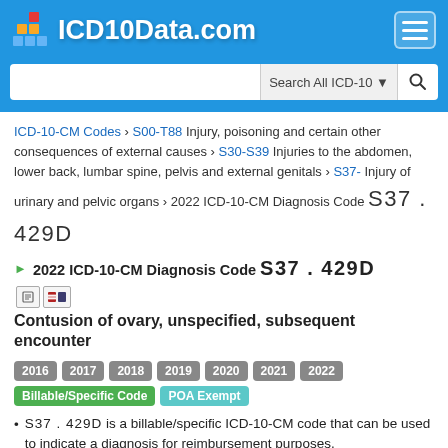ICD10Data.com
ICD-10-CM Codes › S00-T88 Injury, poisoning and certain other consequences of external causes › S30-S39 Injuries to the abdomen, lower back, lumbar spine, pelvis and external genitals › S37- Injury of urinary and pelvic organs › 2022 ICD-10-CM Diagnosis Code S37.429D
2022 ICD-10-CM Diagnosis Code S37.429D
Contusion of ovary, unspecified, subsequent encounter
2016 2017 2018 2019 2020 2021 2022 Billable/Specific Code POA Exempt
S37.429D is a billable/specific ICD-10-CM code that can be used to indicate a diagnosis for reimbursement purposes.
The 2022 edition of ICD-10-CM S37.429D became